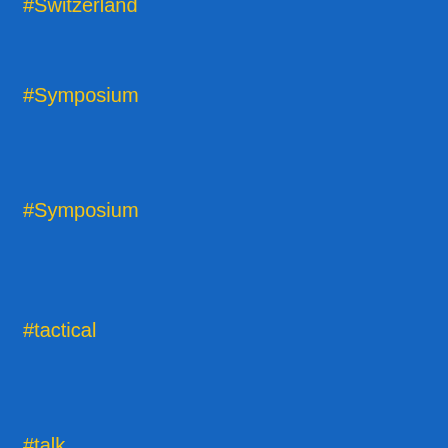#Switzerland
#Symposium
#Symposium
#tactical
#talk
#Talk
#Talk
#Team
#Team
#TeamBuilding